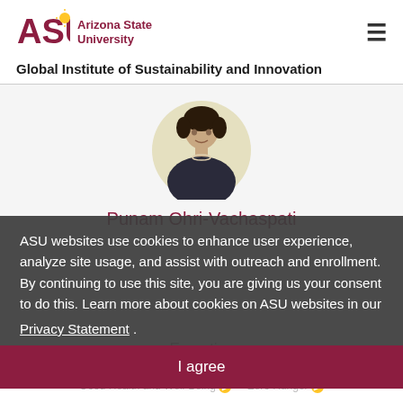[Figure (logo): Arizona State University logo with ASU text in maroon and gold sun symbol, followed by 'Arizona State University' text in maroon]
Global Institute of Sustainability and Innovation
[Figure (photo): Circular profile photo of Punam Ohri-Vachaspati, a woman with short dark hair wearing a dark blazer and pearl necklace]
Punam Ohri-Vachaspati
ASU websites use cookies to enhance user experience, analyze site usage, and assist with outreach and enrollment. By continuing to use this site, you are giving us your consent to do this. Learn more about cookies on ASU websites in our Privacy Statement .
I agree
Expertise
obesity   food policy   public health   poverty
Good Health and Well-Being   Zero Hunger